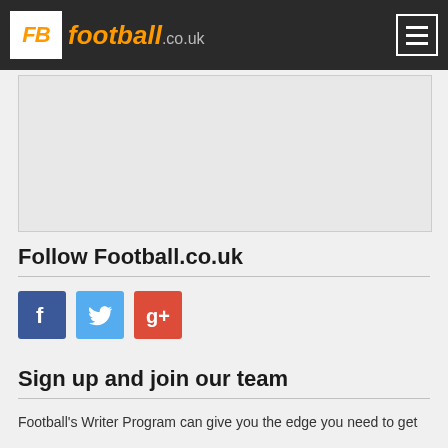football.co.uk
[Figure (other): Gray placeholder content box]
Follow Football.co.uk
[Figure (other): Social media icons: Facebook, Twitter, Google+]
Sign up and join our team
Football's Writer Program can give you the edge you need to get